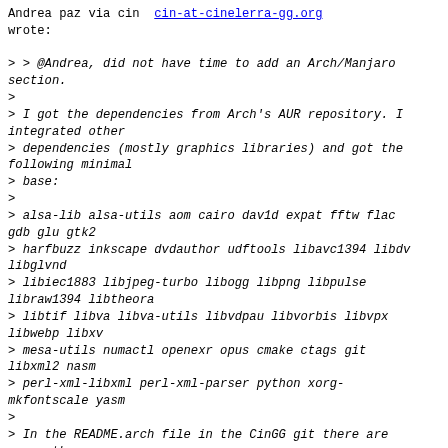Andrea paz via cin  [cin-at-cinelerra-gg.org] wrote:

> > @Andrea, did not have time to add an Arch/Manjaro section.
>
> I got the dependencies from Arch's AUR repository. I integrated other
> dependencies (mostly graphics libraries) and got the following minimal
> base:
>
> alsa-lib alsa-utils aom cairo dav1d expat fftw flac gdb glu gtk2
> harfbuzz inkscape dvdauthor udftools libavc1394 libdv libglvnd
> libiec1883 libjpeg-turbo libogg libpng libpulse libraw1394 libtheora
> libtif libva libva-utils libvdpau libvorbis libvpx libwebp libxv
> mesa-utils numactl openexr opus cmake ctags git libxml2 nasm
> perl-xml-libxml perl-xml-parser python xorg-mkfontscale yasm
>
> In the README.arch file in the CinGG git there are many other
> dependencies. I wonder if they are all really necessary. I don't know
> the use of many of them; others I think are installed in arch, at